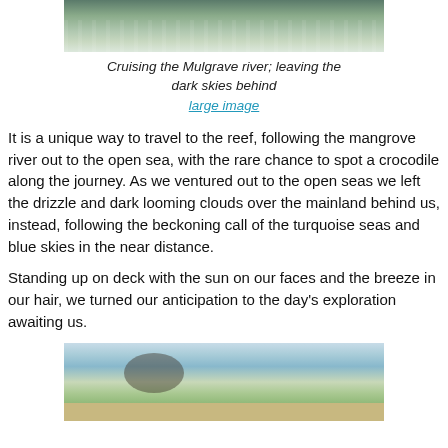[Figure (photo): Top portion of a river photo showing water with light reflections, green vegetation, cropped at top]
Cruising the Mulgrave river; leaving the dark skies behind
large image
It is a unique way to travel to the reef, following the mangrove river out to the open sea, with the rare chance to spot a crocodile along the journey. As we ventured out to the open seas we left the drizzle and dark looming clouds over the mainland behind us, instead, following the beckoning call of the turquoise seas and blue skies in the near distance.
Standing up on deck with the sun on our faces and the breeze in our hair, we turned our anticipation to the day's exploration awaiting us.
[Figure (photo): Beach scene with turquoise water, sandy shore, green forested island in background, person with curly hair viewed from behind in foreground]